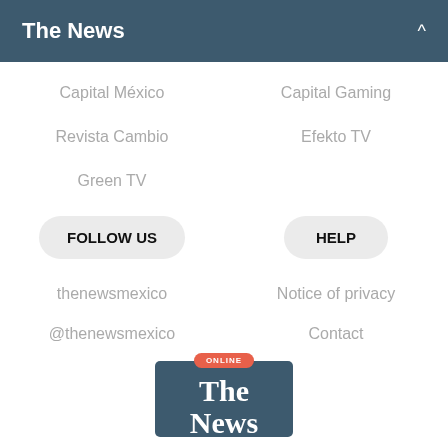The News
Capital México
Capital Gaming
Revista Cambio
Efekto TV
Green TV
FOLLOW US
HELP
thenewsmexico
Notice of privacy
@thenewsmexico
Contact
[Figure (logo): The News online logo card with blue background, orange ONLINE badge, and white serif text reading 'The News']